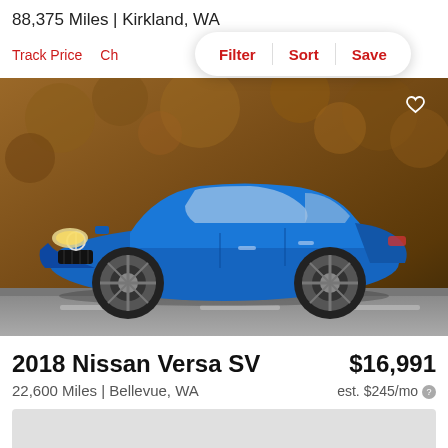88,375 Miles | Kirkland, WA
Track Price  Ch  Filter  Sort  Save
[Figure (photo): Blue 2018 Nissan Versa SV sedan parked on a road with autumn brown foliage background. White heart/favorite icon in top right corner.]
2018 Nissan Versa SV   $16,991
22,600 Miles | Bellevue, WA   est. $245/mo